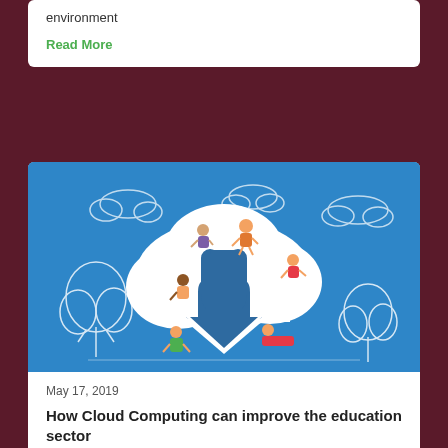environment
Read More
[Figure (illustration): Blue background illustration showing a cloud with a download arrow symbol. Multiple cartoon people (students) sitting on and around the cloud, using laptops and tablets. White outline trees on left and right sides. Clouds in the background sky.]
May 17, 2019
How Cloud Computing can improve the education sector
Read More